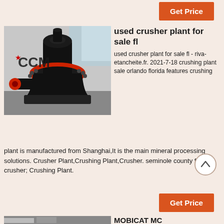[Figure (other): Get Price button (orange) at top right]
[Figure (photo): Photo of a cone crusher machine with CCM logo, black and red, industrial setting]
used crusher plant for sale fl
used crusher plant for sale fl - riva-etancheite.fr. 2021-7-18 crushing plant sale orlando florida features crushing plant is manufactured from Shanghai,It is the main mineral processing solutions. Crusher Plant,Crushing Plant,Crusher. seminole county fl jaw crusher; Crushing Plant.
[Figure (other): Scroll-to-top circular button with upward arrow]
[Figure (other): Get Price button (orange) at bottom right]
[Figure (photo): Bottom product image partially visible]
MOBICAT MC